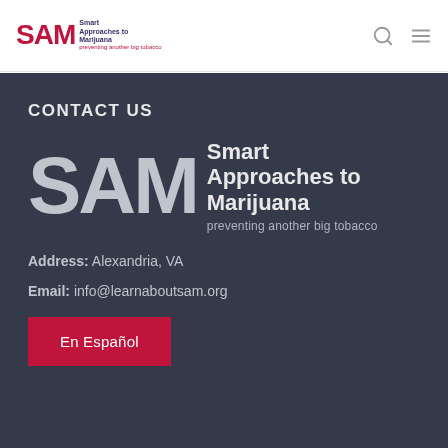SAM Smart Approaches to Marijuana — preventing another big tobacco
CONTACT US
[Figure (logo): SAM (Smart Approaches to Marijuana) logo — large grey SAM letters with 'Smart Approaches to Marijuana' and tagline 'preventing another big tobacco' on dark background]
Address: Alexandria, VA
Email: info@learnaboutsam.org
En Español